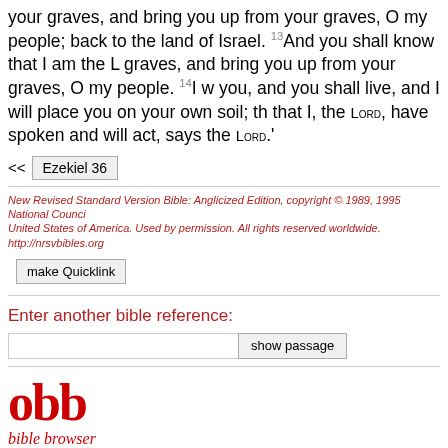your graves, and bring you up from your graves, O my people; back to the land of Israel. 13And you shall know that I am the L... graves, and bring you up from your graves, O my people. 14I w... you, and you shall live, and I will place you on your own soil; th... that I, the LORD, have spoken and will act, says the LORD.'
<< Ezekiel 36
New Revised Standard Version Bible: Anglicized Edition, copyright © 1989, 1995 National Counci... United States of America. Used by permission. All rights reserved worldwide. http://nrsvbibles.org
make Quicklink
Enter another bible reference:
show passage
[Figure (logo): obb bible browser logo in red with tagline 'bible browser', email biblemail@oremus.org, version v 2.9.2, date 30 June 2021]